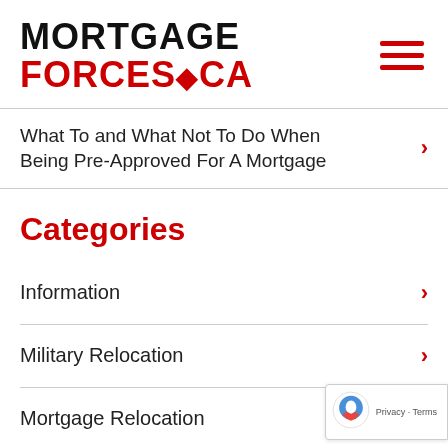MORTGAGE FORCES.CA
What To and What Not To Do When Being Pre-Approved For A Mortgage
Categories
Information
Military Relocation
Mortgage Relocation